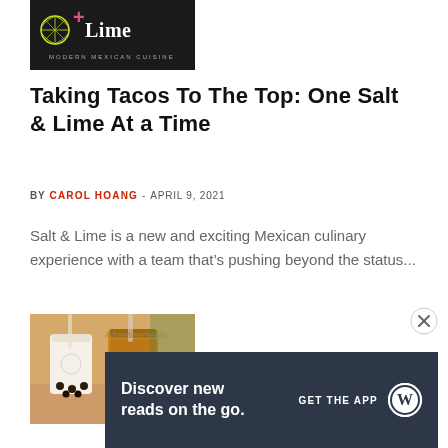[Figure (logo): Salt & Lime logo on dark background with Mexican cuisine text]
Taking Tacos To The Top: One Salt & Lime At a Time
BY CAROL HOANG - APRIL 9, 2021
Salt & Lime is a new and exciting Mexican culinary experience with a team that’s pushing beyond the status...
[Figure (photo): Photo of boba tea drinks with brown liquid and tapioca pearls on a table]
Advertisements
[Figure (infographic): WordPress advertisement banner: Discover new reads on the go. GET THE APP with WordPress logo]